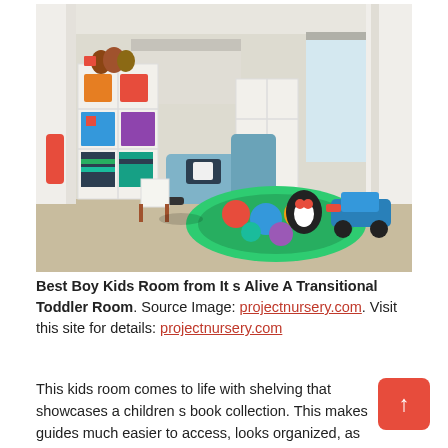[Figure (photo): A children's playroom/bedroom with white cube shelving units filled with colorful toys and books, striped fabric bins, stuffed animals on top, a blue chaise lounge chair with decorative pillow, a colorful circular educational rug on beige carpet, a small rocking horse, toy ride-on car, large windows with white curtains letting in natural light, and light blue horizontal stripes painted on one wall.]
Best Boy Kids Room from It s Alive A Transitional Toddler Room. Source Image: projectnursery.com. Visit this site for details: projectnursery.com
This kids room comes to life with shelving that showcases a children s book collection. This makes guides much easier to access, looks organized, as well as